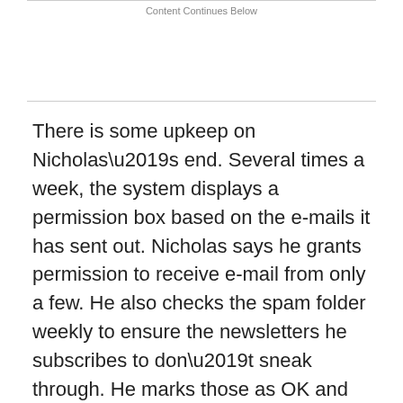Content Continues Below
There is some upkeep on Nicholas’s end. Several times a week, the system displays a permission box based on the e-mails it has sent out. Nicholas says he grants permission to receive e-mail from only a few. He also checks the spam folder weekly to ensure the newsletters he subscribes to don’t sneak through. He marks those as OK and deletes the rest.
“I’m a real estate man. I don’t know much about computers, but ChoiceMail has saved me time and aggravation,” he says.